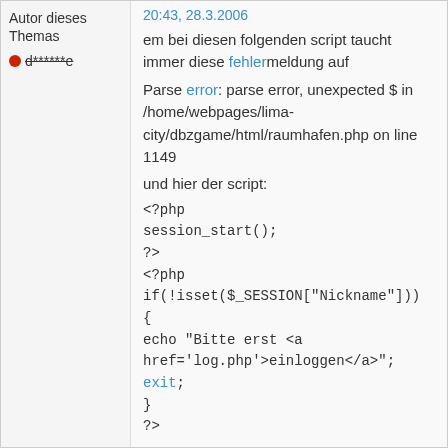Autor dieses Themas
20:43, 28.3.2006
d******e
em bei diesen folgenden script taucht immer diese fehlermeldung auf
Parse error: parse error, unexpected $ in /home/webpages/lima-city/dbzgame/html/raumhafen.php on line 1149
und hier der script:
<?php
session_start();
?>
<?php
if(!isset($_SESSION["Nickname"]))
{
echo "Bitte erst <a href='log.php'>einloggen</a>";
exit;
}
?>